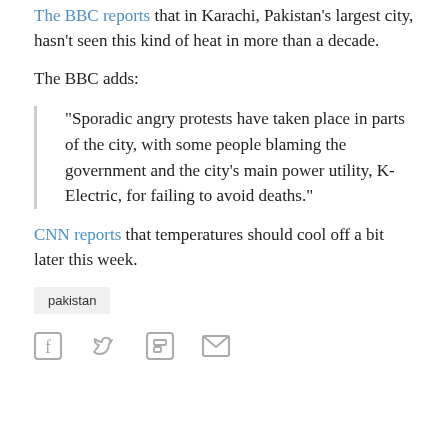The BBC reports that in Karachi, Pakistan's largest city, hasn't seen this kind of heat in more than a decade.
The BBC adds:
"Sporadic angry protests have taken place in parts of the city, with some people blaming the government and the city's main power utility, K-Electric, for failing to avoid deaths."
CNN reports that temperatures should cool off a bit later this week.
pakistan
[Figure (infographic): Social share icons: Facebook, Twitter, Flipboard, Email]